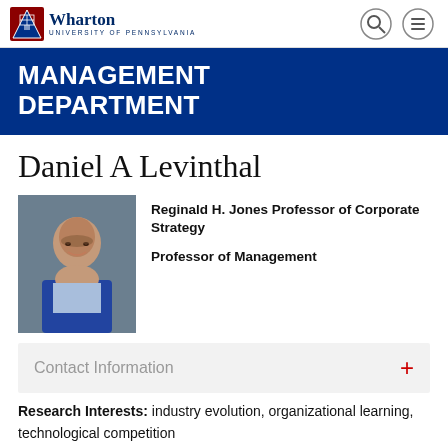Wharton University of Pennsylvania
MANAGEMENT DEPARTMENT
Daniel A Levinthal
[Figure (photo): Professional headshot of Daniel A Levinthal, a middle-aged man with glasses wearing a blue blazer]
Reginald H. Jones Professor of Corporate Strategy
Professor of Management
Contact Information
Research Interests: industry evolution, organizational learning, technological competition